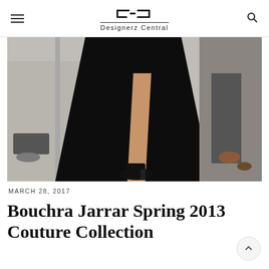Designerz Central
[Figure (photo): Fashion runway photo showing lower half of model in long black evening gown with high slit, wearing black platform ankle-strap heels, on a white runway floor]
MARCH 28, 2017
Bouchra Jarrar Spring 2013 Couture Collection